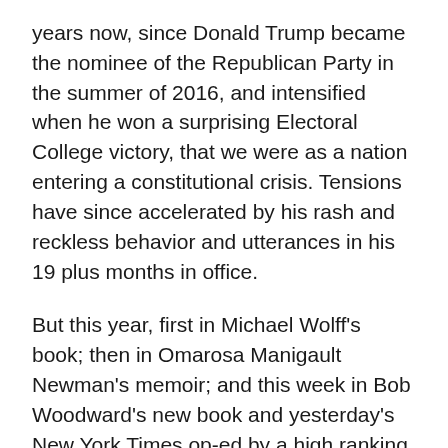years now, since Donald Trump became the nominee of the Republican Party in the summer of 2016, and intensified when he won a surprising Electoral College victory, that we were as a nation entering a constitutional crisis. Tensions have since accelerated by his rash and reckless behavior and utterances in his 19 plus months in office.
But this year, first in Michael Wolff's book; then in Omarosa Manigault Newman's memoir; and this week in Bob Woodward's new book and yesterday's New York Times op-ed by a high ranking official of the Trump Administration, all warning of the dangers of Donald Trump, and his totally unhinged behavior being more than ever a national crisis, we have now reached a stage where it is clear that we are in a more terrifying